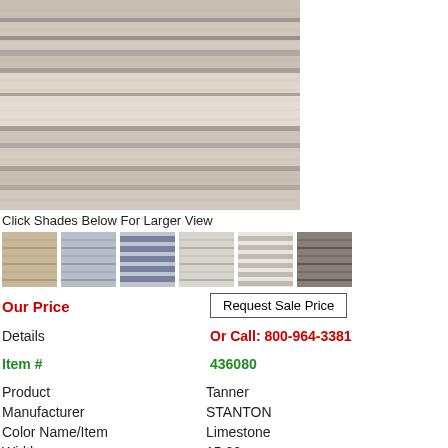[Figure (photo): Close-up photo of a striped woven rug/carpet fabric in beige, grey, and cream tones with horizontal stripe pattern]
Click Shades Below For Larger View
[Figure (photo): Six color shade thumbnail swatches for rug variants]
Our Price
Request Sale Price
Details
Or Call: 800-964-3381
Item #
436080
| Field | Value |
| --- | --- |
| Product | Tanner |
| Manufacturer | STANTON |
| Color Name/Item | Limestone |
| Width | 15.00 |
| Condition | New |